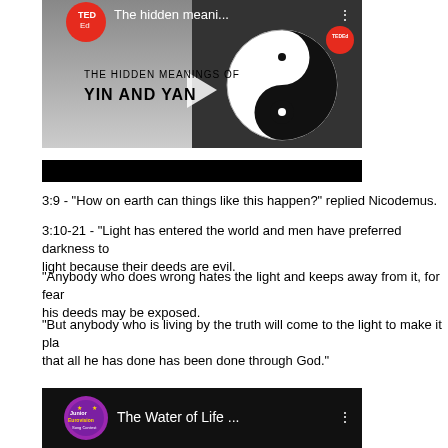[Figure (screenshot): TED-Ed YouTube video thumbnail showing 'The hidden meani...' with a yin-yang symbol image and play button overlay]
[Figure (screenshot): Black bar / video progress bar element]
3:9 - "How on earth can things like this happen?" replied Nicodemus.
3:10-21 - "Light has entered the world and men have preferred darkness to light because their deeds are evil.
"Anybody who does wrong hates the light and keeps away from it, for fear his deeds may be exposed.
"But anybody who is living by the truth will come to the light to make it plain that all he has done has been done through God."
[Figure (screenshot): Junior Eurovision YouTube video thumbnail showing 'The Water of Life ...']